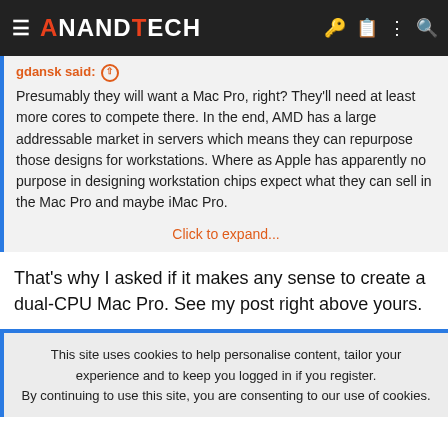AnandTech
gdansk said: ↑

Presumably they will want a Mac Pro, right? They'll need at least more cores to compete there. In the end, AMD has a large addressable market in servers which means they can repurpose those designs for workstations. Where as Apple has apparently no purpose in designing workstation chips expect what they can sell in the Mac Pro and maybe iMac Pro.

Click to expand...
That's why I asked if it makes any sense to create a dual-CPU Mac Pro. See my post right above yours.
This site uses cookies to help personalise content, tailor your experience and to keep you logged in if you register.
By continuing to use this site, you are consenting to our use of cookies.